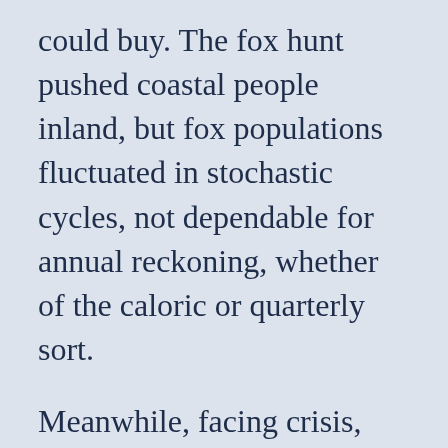could buy. The fox hunt pushed coastal people inland, but fox populations fluctuated in stochastic cycles, not dependable for annual reckoning, whether of the caloric or quarterly sort.
Meanwhile, facing crisis, communities on both sides of the Bering Strait developed local regulations that enabled